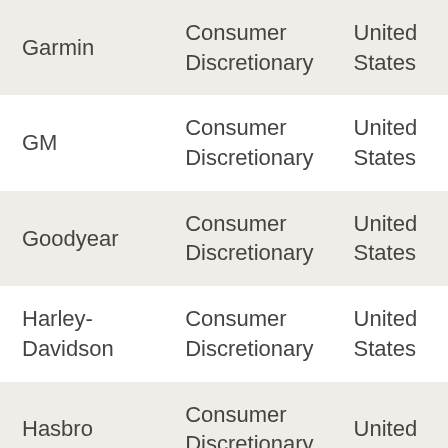| Company | Sector | Country |
| --- | --- | --- |
| Garmin | Consumer Discretionary | United States |
| GM | Consumer Discretionary | United States |
| Goodyear | Consumer Discretionary | United States |
| Harley-Davidson | Consumer Discretionary | United States |
| Hasbro | Consumer Discretionary | United States |
| Levi Strauss | Consumer | United |